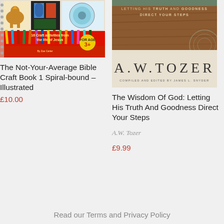[Figure (photo): Book cover of 'The Not-Your-Average Bible Craft Book 1 Spiral-bound Illustrated' showing colorful craft activities including a hen, stained glass window, colored pencils, and a blue circular craft item. Text reads '16 Craft activities from the life of Jesus, For age 3+, By Zoe Carter']
The Not-Your-Average Bible Craft Book 1 Spiral-bound – Illustrated
£10.00
[Figure (photo): Book cover of 'The Wisdom Of God: Letting His Truth And Goodness Direct Your Steps' by A.W. Tozer, compiled and edited by James L. Snyder. Teal/brown cover with large author name.]
The Wisdom Of God: Letting His Truth And Goodness Direct Your Steps
A.W. Tozer
£9.99
Read our Terms and Privacy Policy